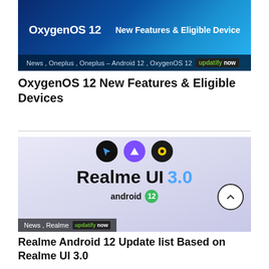[Figure (screenshot): OxygenOS 12 banner with blue gradient background showing 'OxygenOS 12' on left and 'New Features & Eligible Device' on right, with category tags News, Oneplus, Oneplus - Android 12, OxygenOS 12 below]
OxygenOS 12 New Features & Eligible Devices
[Figure (screenshot): Realme UI 3.0 promotional image with app icons on light purple background, showing 'Realme UI 3.0' text and 'android 12' badge, with News, Realme tag overlay and updatify now branding]
Realme Android 12 Update list Based on Realme UI 3.0